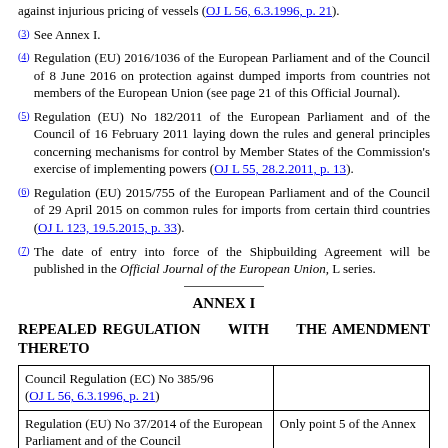against injurious pricing of vessels (OJ L 56, 6.3.1996, p. 21).
(3) See Annex I.
(4) Regulation (EU) 2016/1036 of the European Parliament and of the Council of 8 June 2016 on protection against dumped imports from countries not members of the European Union (see page 21 of this Official Journal).
(5) Regulation (EU) No 182/2011 of the European Parliament and of the Council of 16 February 2011 laying down the rules and general principles concerning mechanisms for control by Member States of the Commission's exercise of implementing powers (OJ L 55, 28.2.2011, p. 13).
(6) Regulation (EU) 2015/755 of the European Parliament and of the Council of 29 April 2015 on common rules for imports from certain third countries (OJ L 123, 19.5.2015, p. 33).
(7) The date of entry into force of the Shipbuilding Agreement will be published in the Official Journal of the European Union, L series.
ANNEX I
REPEALED REGULATION WITH THE AMENDMENT THERETO
|  |  |
| --- | --- |
| Council Regulation (EC) No 385/96
(OJ L 56, 6.3.1996, p. 21) |  |
| Regulation (EU) No 37/2014 of the European Parliament and of the Council
(OJ L 18, 21.1.2014, p. 1) | Only point 5 of the Annex |